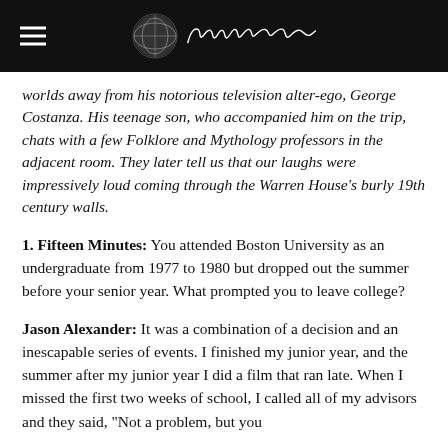[Hamburger menu icon] [Logo circle] [Signature: fifteen minutes]
worlds away from his notorious television alter-ego, George Costanza. His teenage son, who accompanied him on the trip, chats with a few Folklore and Mythology professors in the adjacent room. They later tell us that our laughs were impressively loud coming through the Warren House's burly 19th century walls.
1. Fifteen Minutes: You attended Boston University as an undergraduate from 1977 to 1980 but dropped out the summer before your senior year. What prompted you to leave college?
Jason Alexander: It was a combination of a decision and an inescapable series of events. I finished my junior year, and the summer after my junior year I did a film that ran late. When I missed the first two weeks of school, I called all of my advisors and they said, "Not a problem, but you